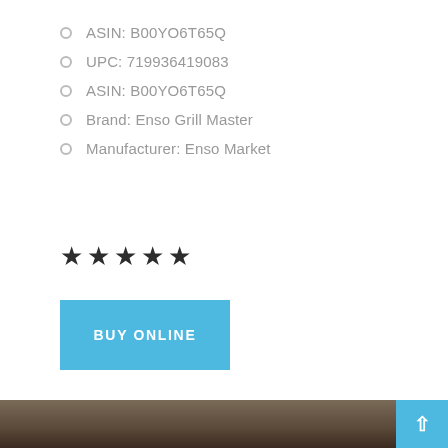ASIN: B00YO6T65Q
UPC: 719936419083
ASIN: B00YO6T65Q
Brand: Enso Grill Master
Manufacturer: Enso Market
[Figure (other): Five filled black star rating icons]
BUY ONLINE
[Figure (photo): Partial photo of a grill product at the bottom of the page]